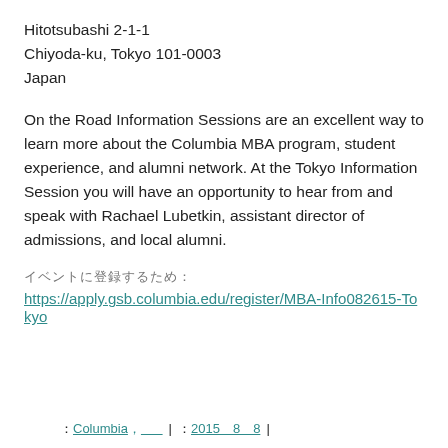Hitotsubashi 2-1-1
Chiyoda-ku, Tokyo 101-0003
Japan
On the Road Information Sessions are an excellent way to learn more about the Columbia MBA program, student experience, and alumni network. At the Tokyo Information Session you will have an opportunity to hear from and speak with Rachael Lubetkin, assistant director of admissions, and local alumni.
（Japanese characters）
https://apply.gsb.columbia.edu/register/MBA-Info082615-Tokyo
: Columbia, ______ | : 2015 8 8 |